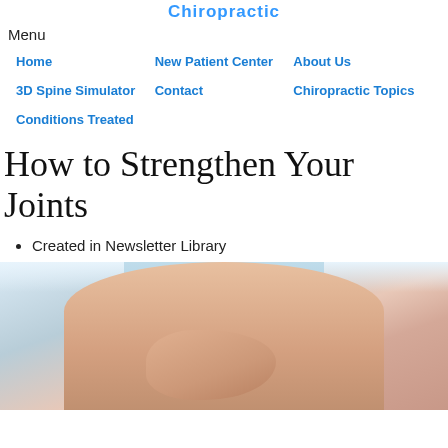Chiropractic
Menu
Home   New Patient Center   About Us   3D Spine Simulator   Contact   Chiropractic Topics   Conditions Treated
How to Strengthen Your Joints
Created in Newsletter Library
[Figure (photo): Close-up photo of a person wearing a light blue shirt, with hands clasped together resting on their knees, suggesting joint pain or discomfort.]